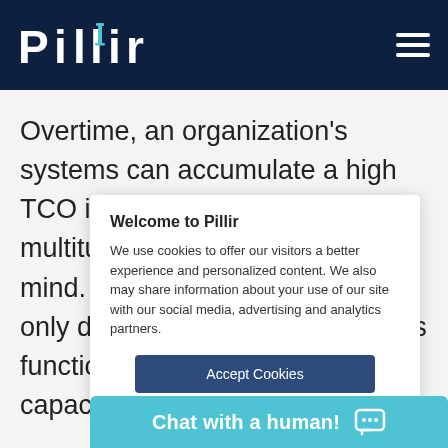Pillir
Overtime, an organization's systems can accumulate a high TCO if not deployed with a multitude of potential issues in mind. For example, if a system is only deployed with issues such as functionality, performance and capacity in
Welcome to Pillir
We use cookies to offer our visitors a better experience and personalized content. We also may share information about your use of our site with our social media, advertising and analytics partners.
Accept Cookies
Chat with a human!